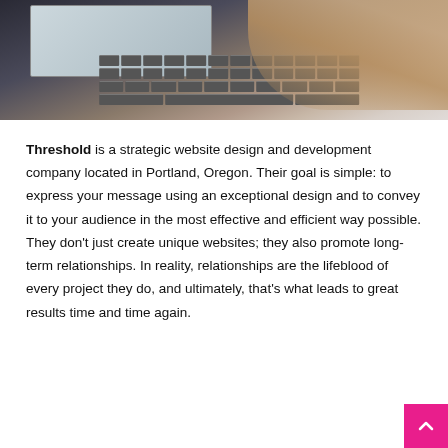[Figure (photo): Overhead view of hands typing on a laptop keyboard on a dark desk]
Threshold is a strategic website design and development company located in Portland, Oregon. Their goal is simple: to express your message using an exceptional design and to convey it to your audience in the most effective and efficient way possible. They don't just create unique websites; they also promote long-term relationships. In reality, relationships are the lifeblood of every project they do, and ultimately, that's what leads to great results time and time again.